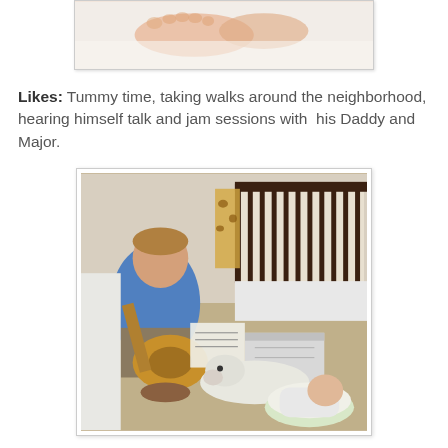[Figure (photo): Partial photo of baby feet or hands on a light surface, cropped at top of page]
Likes: Tummy time, taking walks around the neighborhood, hearing himself talk and jam sessions with his Daddy and Major.
[Figure (photo): Man sitting on floor playing acoustic guitar while reading sheet music. A white dog lies on the floor next to a baby in a bouncer/bassinet. A dark wood crib with white bedding is visible in the background along with a giraffe stuffed animal.]